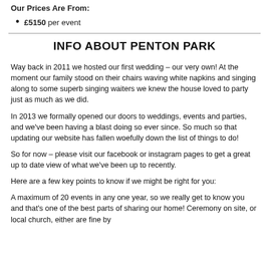Our Prices Are From:
£5150 per event
INFO ABOUT PENTON PARK
Way back in 2011 we hosted our first wedding – our very own! At the moment our family stood on their chairs waving white napkins and singing along to some superb singing waiters we knew the house loved to party just as much as we did.
In 2013 we formally opened our doors to weddings, events and parties, and we've been having a blast doing so ever since. So much so that updating our website has fallen woefully down the list of things to do!
So for now – please visit our facebook or instagram pages to get a great up to date view of what we've been up to recently.
Here are a few key points to know if we might be right for you:
A maximum of 20 events in any one year, so we really get to know you and that's one of the best parts of sharing our home! Ceremony on site, or local church, either are fine by